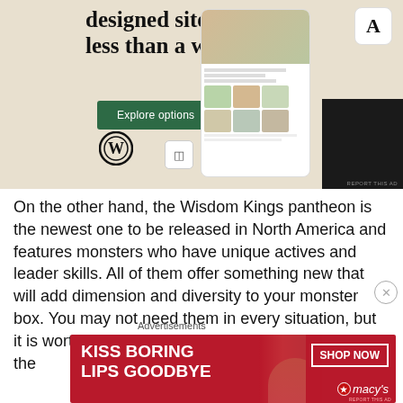[Figure (screenshot): WordPress website builder advertisement showing 'designed sites in less than a week' headline with Explore options button, WordPress logo, and mockup of food website on mobile screens against a beige background.]
On the other hand, the Wisdom Kings pantheon is the newest one to be released in North America and features monsters who have unique actives and leader skills. All of them offer something new that will add dimension and diversity to your monster box. You may not need them in every situation, but it is worthwhile having them at your disposal. All of the Wisdom Kings have...
Advertisements
[Figure (screenshot): Macy's advertisement banner with red background showing 'KISS BORING LIPS GOODBYE' with a woman's face and red lips, and 'SHOP NOW' button with Macy's star logo.]